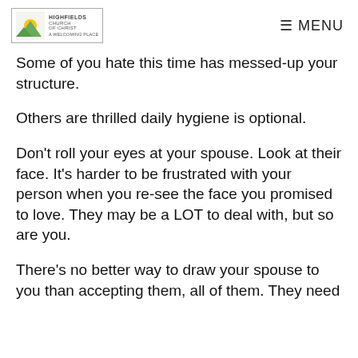Highfields Church of Christ — A Welcoming Place | MENU
Some of you hate this time has messed-up your structure.
Others are thrilled daily hygiene is optional.
Don't roll your eyes at your spouse. Look at their face. It's harder to be frustrated with your person when you re-see the face you promised to love. They may be a LOT to deal with, but so are you.
There's no better way to draw your spouse to you than accepting them, all of them. They need